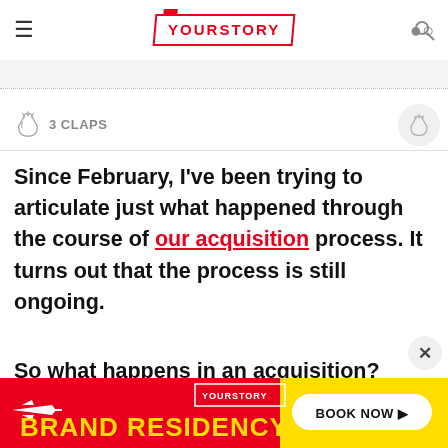YOURSTORY
3 CLAPS
Since February, I've been trying to articulate just what happened through the course of our acquisition process. It turns out that the process is still ongoing.
So what happens in an acquisition?
[Figure (other): YourStory Brand Residency advertisement banner with red and yellow background, airplane icon, and Book Now button]